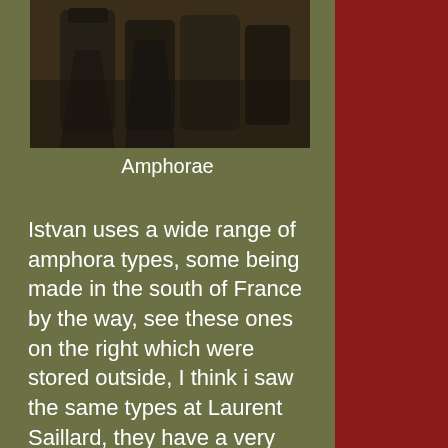[Figure (photo): Dark photograph of amphorae (ancient storage vessels) stacked together, shot from above/side angle]
Amphorae
Istvan uses a wide range of amphora types, some being made in the south of France by the way, see these ones on the right which were stored outside, I think i saw the same types at Laurent Saillard, they have a very